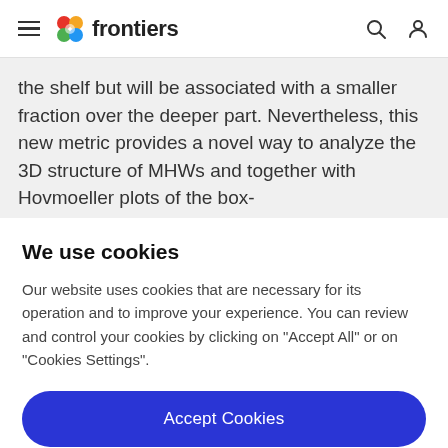frontiers
the shelf but will be associated with a smaller fraction over the deeper part. Nevertheless, this new metric provides a novel way to analyze the 3D structure of MHWs and together with Hovmoeller plots of the box-
We use cookies
Our website uses cookies that are necessary for its operation and to improve your experience. You can review and control your cookies by clicking on "Accept All" or on "Cookies Settings".
Accept Cookies
Cookies Settings